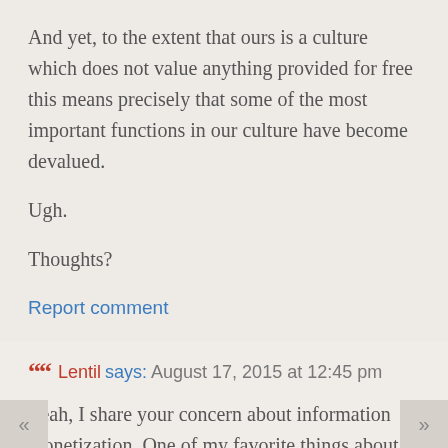And yet, to the extent that ours is a culture which does not value anything provided for free this means precisely that some of the most important functions in our culture have become devalued.
Ugh.
Thoughts?
Report comment
Lentil says: August 17, 2015 at 12:45 pm
Yeah, I share your concern about information monetization. One of my favorite things about that Lanier book is that even he doesn't seem overly convinced by his own